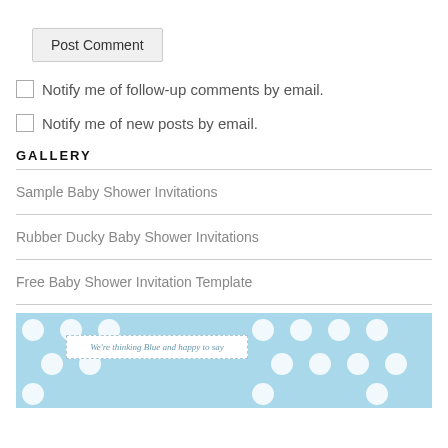Post Comment
Notify me of follow-up comments by email.
Notify me of new posts by email.
GALLERY
Sample Baby Shower Invitations
Rubber Ducky Baby Shower Invitations
Free Baby Shower Invitation Template
[Figure (photo): Blue polka dot baby shower invitation card with text 'We're thinking Blue and happy to say']